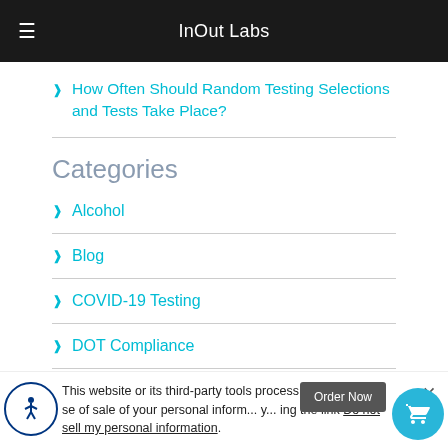InOut Labs
How Often Should Random Testing Selections and Tests Take Place?
Categories
Alcohol
Blog
COVID-19 Testing
DOT Compliance
This website or its third-party tools process personal da... se of sale of your personal inform... y... ing the link Do not sell my personal information.